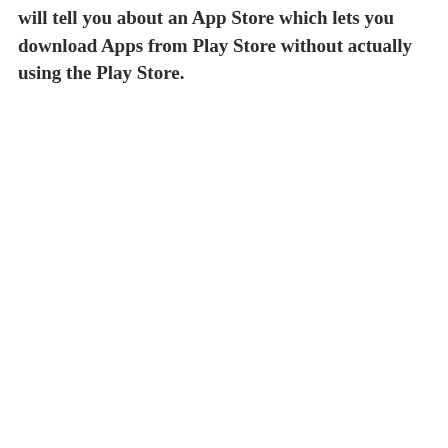will tell you about an App Store which lets you download Apps from Play Store without actually using the Play Store.